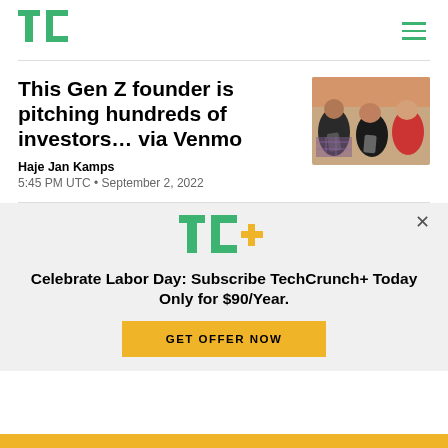TechCrunch logo and navigation
This Gen Z founder is pitching hundreds of investors… via Venmo
[Figure (photo): Group of young people looking at smartphones, viewed from above]
Haje Jan Kamps
5:45 PM UTC • September 2, 2022
[Figure (infographic): TechCrunch+ subscription promotional banner with TC+ logo, offer text, and GET OFFER NOW button]
Celebrate Labor Day: Subscribe TechCrunch+ Today Only for $90/Year.